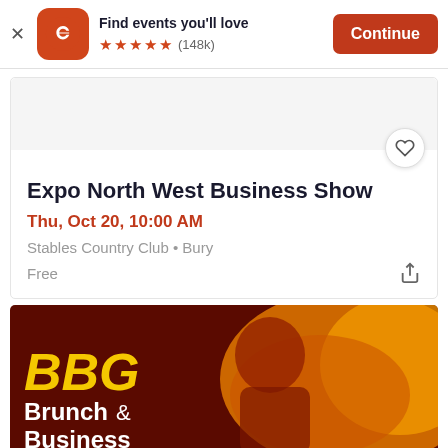[Figure (screenshot): Eventbrite app banner with orange logo showing 'e', text 'Find events you'll love', 5 orange stars, (148k) reviews, and orange 'Continue' button]
[Figure (screenshot): Event listing card for 'Expo North West Business Show' with heart/favorite button, date Thu Oct 20 10:00 AM, location Stables Country Club Bury, price Free, share button]
Expo North West Business Show
Thu, Oct 20, 10:00 AM
Stables Country Club • Bury
Free
[Figure (photo): BBG Brunch & Business event promotional image with dark red/orange background, woman smiling, yellow BBG italic logo text and white 'Brunch & Business' text]